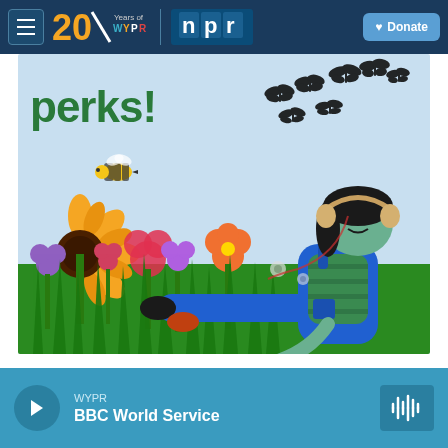WYPR 20 Years of WYPR | NPR | Donate
[Figure (illustration): Colorful illustration showing a person with headphones lying in a field of sunflowers and wildflowers, with butterflies flying overhead and a bee in the air. Text reads 'perks!' in the upper left.]
WYPR BBC World Service